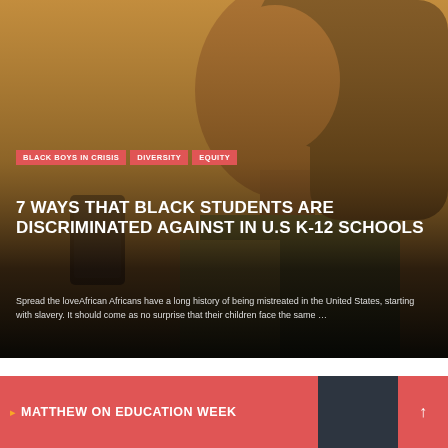[Figure (photo): A young Black girl looking down at a smartphone, photographed against a warm golden-yellow background. The image transitions from warm tones at top to dark at the bottom.]
BLACK BOYS IN CRISIS
DIVERSITY
EQUITY
7 WAYS THAT BLACK STUDENTS ARE DISCRIMINATED AGAINST IN U.S K-12 SCHOOLS
Spread the loveAfrican Africans have a long history of being mistreated in the United States, starting with slavery. It should come as no surprise that their children face the same …
MATTHEW ON EDUCATION WEEK